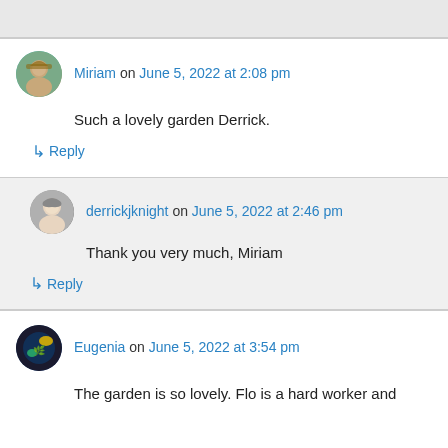Miriam on June 5, 2022 at 2:08 pm
Such a lovely garden Derrick.
↳ Reply
derrickjknight on June 5, 2022 at 2:46 pm
Thank you very much, Miriam
↳ Reply
Eugenia on June 5, 2022 at 3:54 pm
The garden is so lovely. Flo is a hard worker and